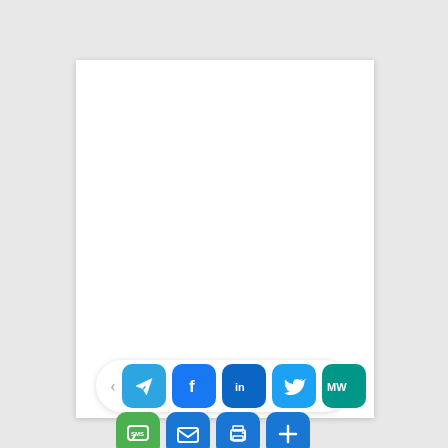[Figure (screenshot): A white document card on a light grey background with a social sharing bar at the bottom showing icons for Telegram, Facebook, LinkedIn, Twitter, MW, SMS, Email, Print, and More.]